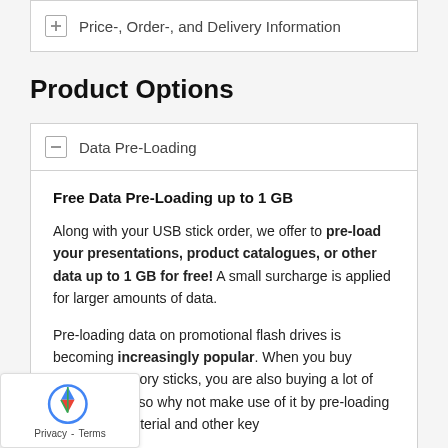Price-, Order-, and Delivery Information
Product Options
Data Pre-Loading
Free Data Pre-Loading up to 1 GB
Along with your USB stick order, we offer to pre-load your presentations, product catalogues, or other data up to 1 GB for free! A small surcharge is applied for larger amounts of data.
Pre-loading data on promotional flash drives is becoming increasingly popular. When you buy branded memory sticks, you are also buying a lot of data storage, so why not make use of it by pre-loading your sales material and other key